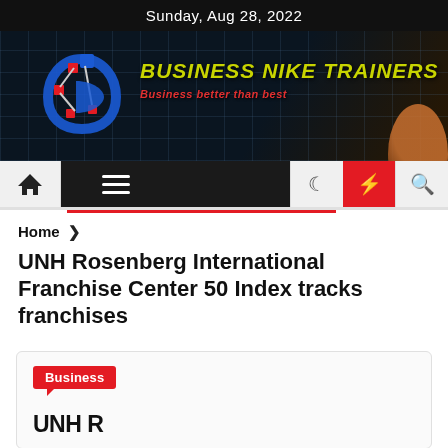Sunday, Aug 28, 2022
[Figure (logo): Business Nike Trainers website banner with logo and tagline 'Business better than best']
Home > UNH Rosenberg International Franchise Center 50 Index tracks franchises
UNH Rosenberg International Franchise Center 50 Index tracks franchises
Business
UNH R...